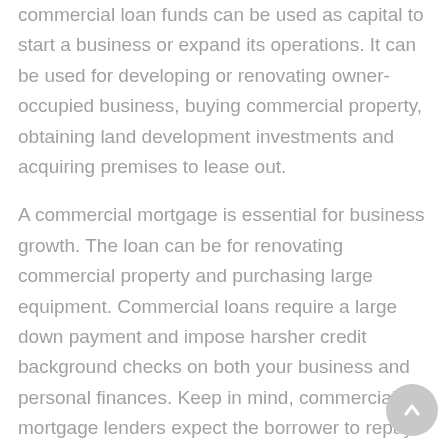commercial loan funds can be used as capital to start a business or expand its operations. It can be used for developing or renovating owner-occupied business, buying commercial property, obtaining land development investments and acquiring premises to lease out.
A commercial mortgage is essential for business growth. The loan can be for renovating commercial property and purchasing large equipment. Commercial loans require a large down payment and impose harsher credit background checks on both your business and personal finances. Keep in mind, commercial mortgage lenders expect the borrower to repay the entire advance early by including a balloon repayment stipulation. A balloon payment